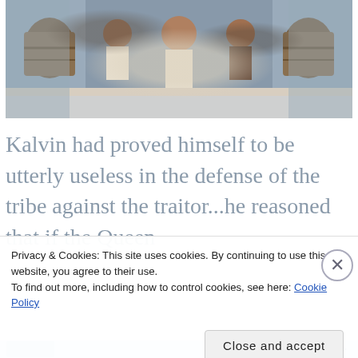[Figure (screenshot): Screenshot of a video game scene showing characters in a tribal/ancient setting with barrels and stone structures in the background. The figures appear to be wearing white loin cloths.]
Kalvin had proved himself to be utterly useless in the defense of the tribe against the traitor...he reasoned that if the Queen
Privacy & Cookies: This site uses cookies. By continuing to use this website, you agree to their use.
To find out more, including how to control cookies, see here: Cookie Policy
Close and accept